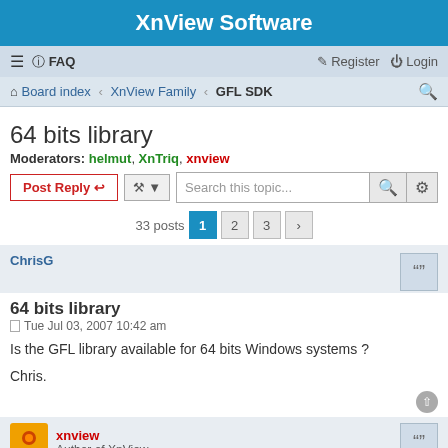XnView Software
≡  FAQ  Register  Login
Board index · XnView Family · GFL SDK
64 bits library
Moderators: helmut, XnTriq, xnview
Post Reply  [tools]  Search this topic...
33 posts  1  2  3  >
ChrisG
64 bits library
Tue Jul 03, 2007 10:42 am
Is the GFL library available for 64 bits Windows systems ?
Chris.
xnview
Author of XnView